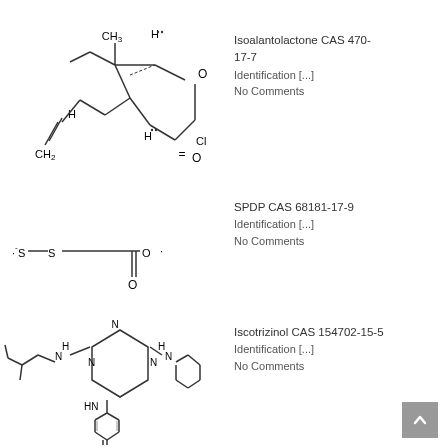[Figure (chemical-structure): Skeletal structure of Isoalantolactone showing a bicyclic lactone ring system with CH3, H, O, and CH2 groups]
Isoalantolactone CAS 470-17-7
Identification [...]
No Comments
[Figure (chemical-structure): Skeletal structure of SPDP showing -S-S- disulfide linkage with propanoic acid and ester group]
SPDP CAS 68181-17-9
Identification [...]
No Comments
[Figure (chemical-structure): Skeletal structure of Iscotrizinol showing a triazine ring with NH groups connected to vinyl-substituted benzene and p-acetylphenyl groups]
Iscotrizinol CAS 154702-15-5
Identification [...]
No Comments